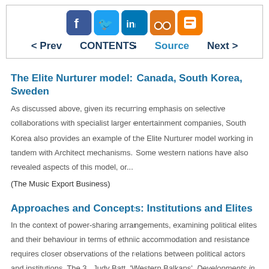[Figure (other): Social media navigation bar with Facebook, Twitter, LinkedIn, MySpace-like, and Blogger icons, and navigation links: < Prev, CONTENTS, Source, Next >]
The Elite Nurturer model: Canada, South Korea, Sweden
As discussed above, given its recurring emphasis on selective collaborations with specialist larger entertainment companies, South Korea also provides an example of the Elite Nurturer model working in tandem with Architect mechanisms. Some western nations have also revealed aspects of this model, or...
(The Music Export Business)
Approaches and Concepts: Institutions and Elites
In the context of power-sharing arrangements, examining political elites and their behaviour in terms of ethnic accommodation and resistance requires closer observations of the relations between political actors and institutions. The 3   Judy Batt, 'Western Balkans', Developments in Central and...
(After Ethnic Conflict: Policy-making in Post-conflict Bosnia and Herzegovina